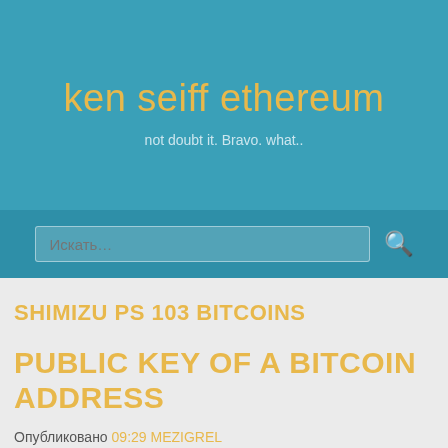ken seiff ethereum
not doubt it. Bravo. what..
SHIMIZU PS 103 BITCOINS
PUBLIC KEY OF A BITCOIN ADDRESS
Опубликовано 09:29 MEZIGREL